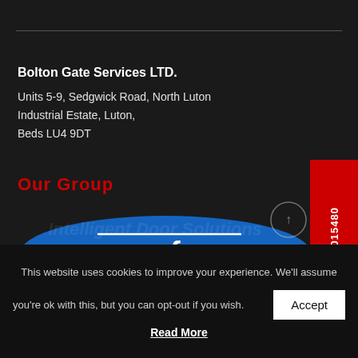Bolton Gate Services LTD.
Units 5-9, Sedgwick Road, North Luton Industrial Estate, Luton, Beds LU4 9DT
Our Group
[Figure (logo): Novoferm logo — white italic text 'novoferm' with underline on a blue oval/ellipse background]
24/7 08085 015480
This website uses cookies to improve your experience. We'll assume you're ok with this, but you can opt-out if you wish.
Accept
Read More